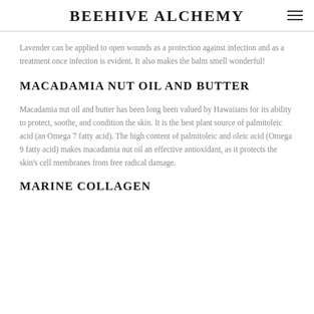BEEHIVE ALCHEMY
Lavender can be applied to open wounds as a protection against infection and as a treatment once infection is evident. It also makes the balm smell wonderful!
MACADAMIA NUT OIL AND BUTTER
Macadamia nut oil and butter has been long been valued by Hawaiians for its ability to protect, soothe, and condition the skin. It is the best plant source of palmitoleic acid (an Omega 7 fatty acid). The high content of palmitoleic and oleic acid (Omega 9 fatty acid) makes macadamia nut oil an effective antioxidant, as it protects the skin's cell membranes from free radical damage.
MARINE COLLAGEN